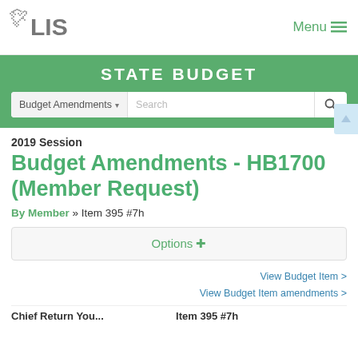[Figure (logo): LIS Virginia Legislative Information System logo with state outline graphic and bold LIS text]
Menu ≡
STATE BUDGET
Budget Amendments ▾  Search
2019 Session
Budget Amendments - HB1700 (Member Request)
By Member » Item 395 #7h
Options +
View Budget Item >
View Budget Item amendments >
Chief Return You... Item 395 #7h